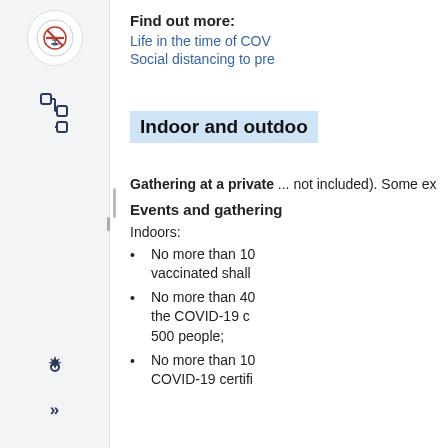Find out more:
Life in the time of COV
Social distancing to pre
Indoor and outdoo
Gathering at a private ... not included). Some ex
Events and gathering
Indoors:
No more than 10 ... vaccinated shall
No more than 40 ... the COVID-19 c... 500 people;
No more than 10 ... COVID-19 certifi